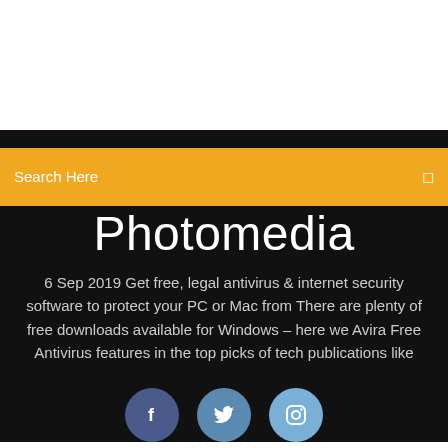Search Here
Photomedia
6 Sep 2019 Get free, legal antivirus & internet security software to protect your PC or Mac from There are plenty of free downloads available for Windows – here we Avira Free Antivirus features in the top picks of tech publications like
[Figure (illustration): Three social media icon buttons: Facebook (f), Twitter (bird), Instagram (camera) displayed as colored circular buttons]